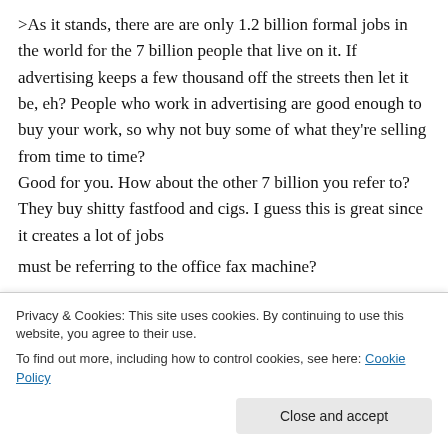>As it stands, there are are only 1.2 billion formal jobs in the world for the 7 billion people that live on it. If advertising keeps a few thousand off the streets then let it be, eh? People who work in advertising are good enough to buy your work, so why not buy some of what they're selling from time to time? Good for you. How about the other 7 billion you refer to? They buy shitty fastfood and cigs. I guess this is great since it creates a lot of jobs
Privacy & Cookies: This site uses cookies. By continuing to use this website, you agree to their use. To find out more, including how to control cookies, see here: Cookie Policy
Close and accept
must be referring to the office fax machine?